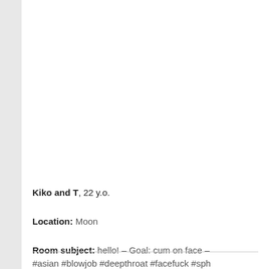Kiko and T, 22 y.o.
Location: Moon
Room subject: hello! – Goal: cum on face – #asian #blowjob #deepthroat #facefuck #sph